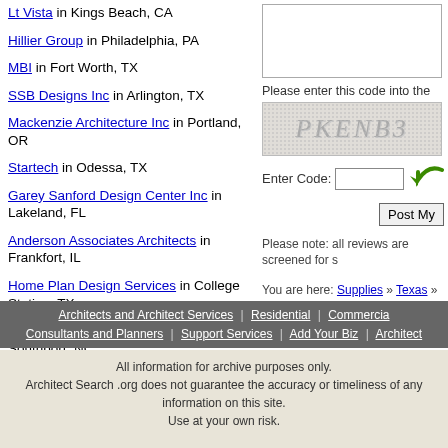Lt Vista in Kings Beach, CA
Hillier Group in Philadelphia, PA
MBI in Fort Worth, TX
SSB Designs Inc in Arlington, TX
Mackenzie Architecture Inc in Portland, OR
Startech in Odessa, TX
Garey Sanford Design Center Inc in Lakeland, FL
Anderson Associates Architects in Frankfort, IL
Home Plan Design Services in College Station, TX
Carolina Coastal Designs Inc in Southport, NC
[Figure (screenshot): CAPTCHA image showing text PKENB3 with noise dots]
Please enter this code into the
Enter Code:
Post My
Please note: all reviews are screened for s
You are here: Supplies » Texas » ASEL Art Sup
Architects and Architect Services | Residential | Commercial
Consultants and Planners | Support Services | Add Your Biz | Architect
All information for archive purposes only.
Architect Search .org does not guarantee the accuracy or timeliness of any information on this site.
Use at your own risk.